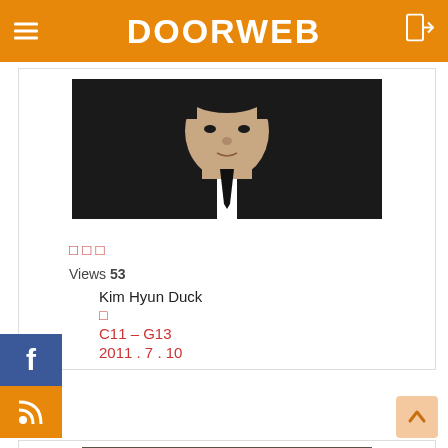DOORWEB
[Figure (photo): Profile photo of a person in a dark suit with a tie, upper body visible]
□ □ □
Views 53
Kim Hyun Duck
C11 – G13
2011 . 7 . 10
[Figure (photo): Profile photo of a person with dark hair, close-up face shot]